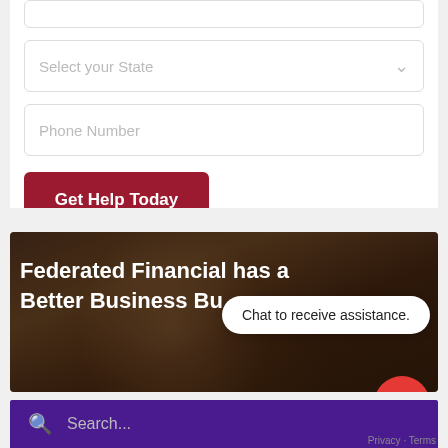[Figure (screenshot): Partial form with 'Select your State' dropdown and 'Phone Number' input field, and a dark red 'Get Help Today' button]
[Figure (screenshot): Banner section with text 'Federated Financial has a Better Business Bu...' overlaid on a dark photo of a woman's face. A chat bubble reads 'Chat to receive assistance.' A red circular chat icon is visible. A purple search bar with 'Search...' placeholder is at the bottom.]